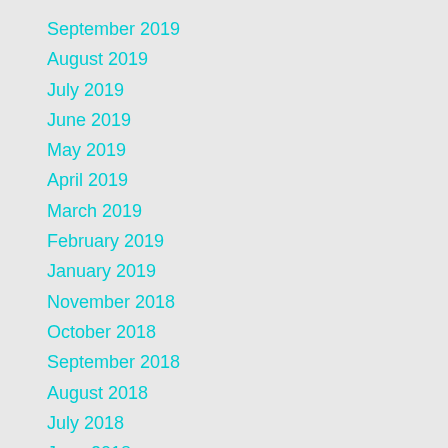September 2019
August 2019
July 2019
June 2019
May 2019
April 2019
March 2019
February 2019
January 2019
November 2018
October 2018
September 2018
August 2018
July 2018
June 2018
May 2018
April 2018
March 2018
February 2018